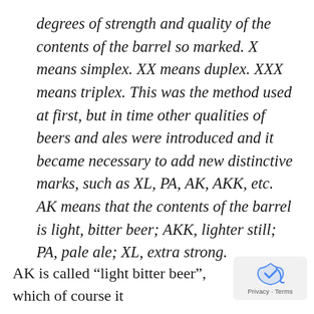degrees of strength and quality of the contents of the barrel so marked. X means simplex. XX means duplex. XXX means triplex. This was the method used at first, but in time other qualities of beers and ales were introduced and it became necessary to add new distinctive marks, such as XL, PA, AK, AKK, etc. AK means that the contents of the barrel is light, bitter beer; AKK, lighter still; PA, pale ale; XL, extra strong.
AK is called “light bitter beer”, which of course it